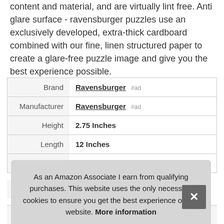content and material, and are virtually lint free. Anti glare surface - ravensburger puzzles use an exclusively developed, extra-thick cardboard combined with our fine, linen structured paper to create a glare-free puzzle image and give you the best experience possible.
|  |  |
| --- | --- |
| Brand | Ravensburger #ad |
| Manufacturer | Ravensburger #ad |
| Height | 2.75 Inches |
| Length | 12 Inches |
| Weight | 1.1 Pounds |
| P |  |
As an Amazon Associate I earn from qualifying purchases. This website uses the only necessary cookies to ensure you get the best experience on our website. More information
Lifetime Warranty Against Manufacturer'S